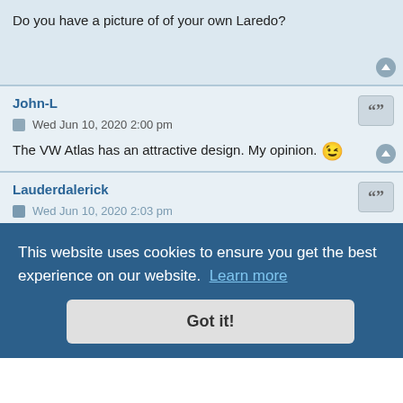Do you have a picture of of your own Laredo?
John-L
Wed Jun 10, 2020 2:00 pm
The VW Atlas has an attractive design. My opinion. 😉
Lauderdalerick
Wed Jun 10, 2020 2:03 pm
This website uses cookies to ensure you get the best experience on our website. Learn more
Got it!
Yes I actually own a jeep i own a 2013 grand cherokee laredo but